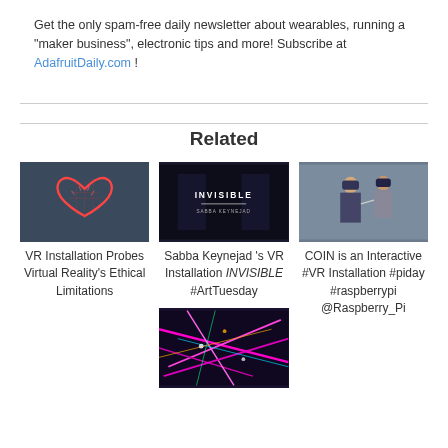Get the only spam-free daily newsletter about wearables, running a "maker business", electronic tips and more! Subscribe at AdafruitDaily.com !
Related
[Figure (photo): Red wireframe heart against dark blue background]
VR Installation Probes Virtual Reality's Ethical Limitations
[Figure (photo): Dark scene with text INVISIBLE and SABBA KEYNEJAD]
Sabba Keynejad 's VR Installation INVISIBLE #ArtTuesday
[Figure (photo): Two people with VR headsets interacting]
COIN is an Interactive #VR Installation #piday #raspberrypi @Raspberry_Pi
[Figure (photo): Dark background with colorful neon lines - circuit/art installation]